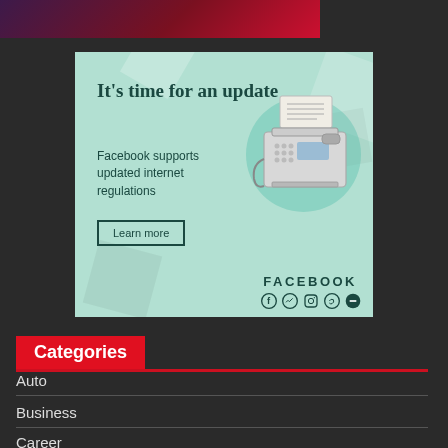[Figure (illustration): Dark gradient banner strip at top of page in purple-red gradient]
[Figure (infographic): Facebook advertisement with mint/teal background. Text reads 'It's time for an update', 'Facebook supports updated internet regulations', 'Learn more' button, fax machine illustration, FACEBOOK branding with social media icons.]
Categories
Auto
Business
Career